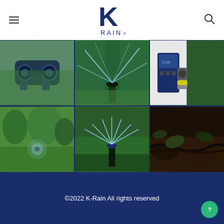[Figure (logo): K-Rain logo with large K letter and RAIN text below in navy blue]
[Figure (photo): Grid of 6 irrigation product and lawn photos: top row shows hose splitter device, sprinkler spraying water, digital irrigation timer with green plants; bottom row shows lawn with sprinkler head, pop-up sprinkler in garden, drip irrigation hose on mulch]
©2022 K-Rain All rights reserved